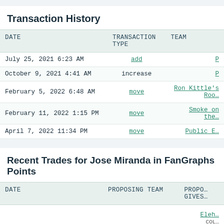Transaction History
| DATE | TRANSACTION TYPE | TEAM |
| --- | --- | --- |
| July 25, 2021 6:23 AM | add | P… |
| October 9, 2021 4:41 AM | increase | P… |
| February 5, 2022 6:48 AM | move | Ron Kittle's Roo… |
| February 11, 2022 1:15 PM | move | Smoke on the… |
| April 7, 2022 11:34 PM | move | Public E… |
Recent Trades for Jose Miranda in FanGraphs Points
| DATE | PROPOSING TEAM | PROPO… GIVES… |
| --- | --- | --- |
|  |  | Eleh… COL… |
|  |  | Jes… |